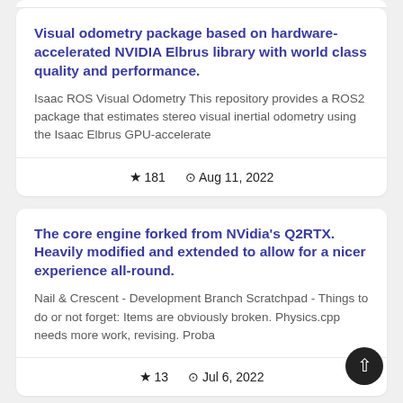Visual odometry package based on hardware-accelerated NVIDIA Elbrus library with world class quality and performance.
Isaac ROS Visual Odometry This repository provides a ROS2 package that estimates stereo visual inertial odometry using the Isaac Elbrus GPU-accelerate
★ 181   🕐 Aug 11, 2022
The core engine forked from NVidia's Q2RTX. Heavily modified and extended to allow for a nicer experience all-round.
Nail & Crescent - Development Branch Scratchpad - Things to do or not forget: Items are obviously broken. Physics.cpp needs more work, revising. Proba
★ 13   🕐 Jul 6, 2022